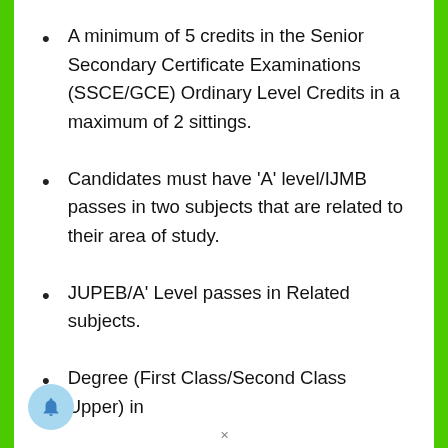A minimum of 5 credits in the Senior Secondary Certificate Examinations (SSCE/GCE) Ordinary Level Credits in a maximum of 2 sittings.
Candidates must have ‘A’ level/IJMB passes in two subjects that are related to their area of study.
JUPEB/A’ Level passes in Related subjects.
Degree (First Class/Second Class Upper) in